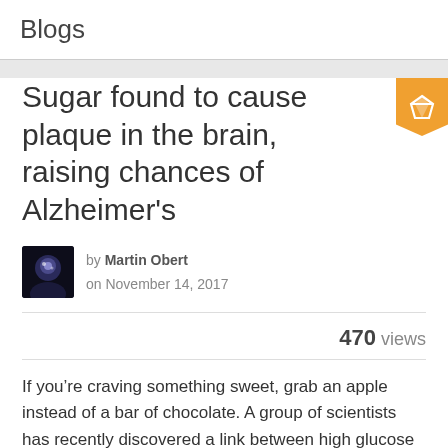Blogs
Sugar found to cause plaque in the brain, raising chances of Alzheimer's
by Martin Obert
on November 14, 2017
470 views
If you're craving something sweet, grab an apple instead of a bar of chocolate. A group of scientists has recently discovered a link between high glucose levels in the brain and symptoms of memory loss, which could lead to Alzheimer's.
The brain breaks down glucose, or sugar in its most basic form, and it is used to provide energy to make the brain function. However, individuals with brain...